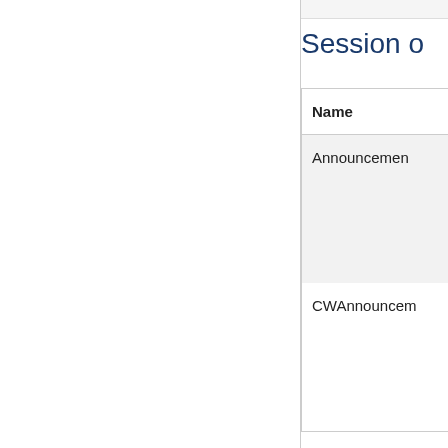Session o
| Name |
| --- |
| Announcement |
| CWAnnouncem |